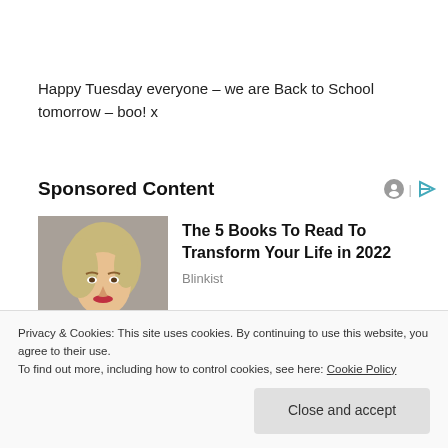Happy Tuesday everyone – we are Back to School tomorrow – boo! x
Sponsored Content
[Figure (photo): Advertisement card showing a woman with blonde hair and red lipstick, with headline 'The 5 Books To Read To Transform Your Life in 2022' by Blinkist]
Privacy & Cookies: This site uses cookies. By continuing to use this website, you agree to their use.
To find out more, including how to control cookies, see here: Cookie Policy
Close and accept